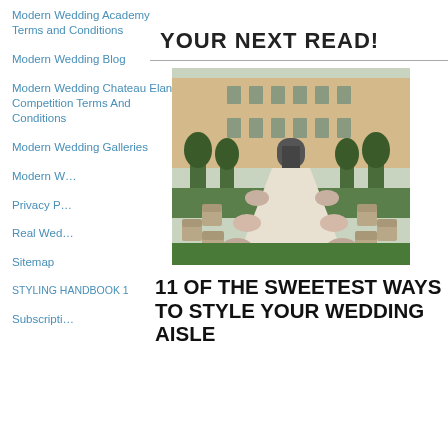Modern Wedding Academy Terms and Conditions
Modern Wedding Blog
Modern Wedding Chateau Elan Competition Terms And Conditions
Modern Wedding Galleries
Modern W[edding...]
Privacy P[olicy...]
Real Wed[dings...]
Sitemap
STYLING HANDBOOK 1
Subscripti[on...]
YOUR NEXT READ!
[Figure (photo): Outdoor wedding aisle at a French chateau with rows of elegant chairs, topiary trees, floral arrangements, and a stone building in the background]
11 OF THE SWEETEST WAYS TO STYLE YOUR WEDDING AISLE